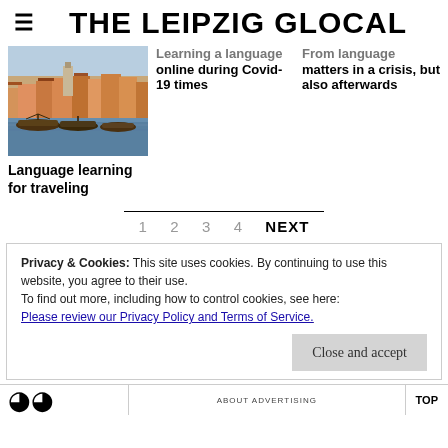THE LEIPZIG GLOCAL
Learning a language online during Covid-19 times
From language matters in a crisis, but also afterwards
[Figure (photo): Scenic waterfront view of Porto, Portugal with traditional Rabelo boats moored along the Douro River and colorful buildings on the hillside]
Language learning for traveling
1 2 3 4 NEXT
Privacy & Cookies: This site uses cookies. By continuing to use this website, you agree to their use. To find out more, including how to control cookies, see here: Please review our Privacy Policy and Terms of Service.
Close and accept
ABOUT ADVERTISING  TOP